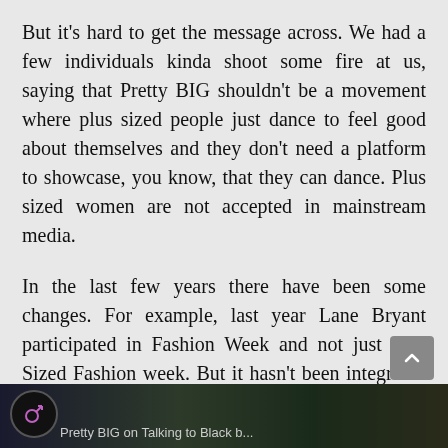But it's hard to get the message across. We had a few individuals kinda shoot some fire at us, saying that Pretty BIG shouldn't be a movement where plus sized people just dance to feel good about themselves and they don't need a platform to showcase, you know, that they can dance. Plus sized women are not accepted in mainstream media.
In the last few years there have been some changes. For example, last year Lane Bryant participated in Fashion Week and not just Plus Sized Fashion week. But it hasn't been integrated completely [in mainstream media].
[Figure (photo): Partial image strip at bottom of page showing a dark outdoor scene, with a circular icon on the left and partial caption text reading 'Pretty BIG...' on a dark background.]